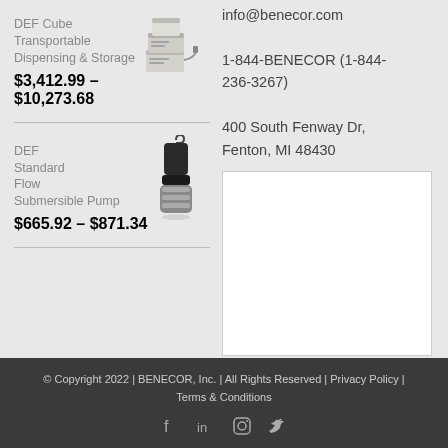DEF Cube
Transportable Dispensing & Storage
$3,412.99 – $10,273.68
[Figure (photo): DEF Cube product image - stacked cube dispensing unit]
info@benecor.com
1-844-BENECOR (1-844-236-3267)
400 South Fenway Dr, Fenton, MI 48430
DEF Standard Flow Submersible Pump
$665.92 – $871.34
[Figure (photo): DEF Standard Flow Submersible Pump product image - black pump]
© Copyright 2022 | BENECOR, Inc. | All Rights Reserved | Privacy Policy | Terms & Conditions